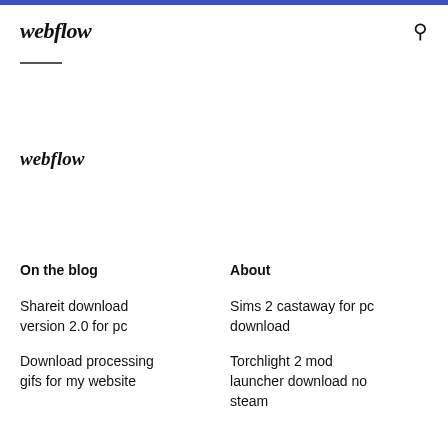webflow
webflow
On the blog
About
Shareit download version 2.0 for pc
Sims 2 castaway for pc download
Download processing gifs for my website
Torchlight 2 mod launcher download no steam